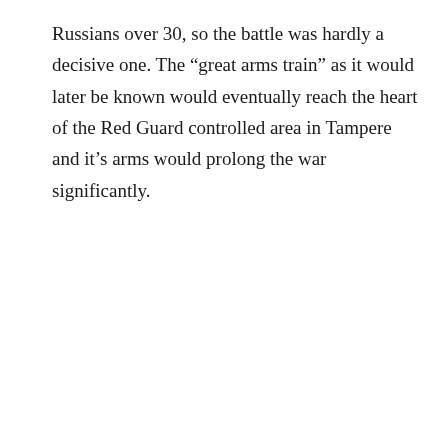Russians over 30, so the battle was hardly a decisive one. The “great arms train” as it would later be known would eventually reach the heart of the Red Guard controlled area in Tampere and it's arms would prolong the war significantly.